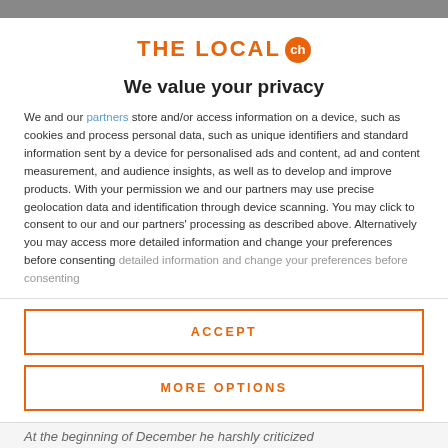[Figure (logo): THE LOCAL ch logo in orange with circle badge]
We value your privacy
We and our partners store and/or access information on a device, such as cookies and process personal data, such as unique identifiers and standard information sent by a device for personalised ads and content, ad and content measurement, and audience insights, as well as to develop and improve products. With your permission we and our partners may use precise geolocation data and identification through device scanning. You may click to consent to our and our partners' processing as described above. Alternatively you may access more detailed information and change your preferences before consenting
ACCEPT
MORE OPTIONS
At the beginning of December he harshly criticized